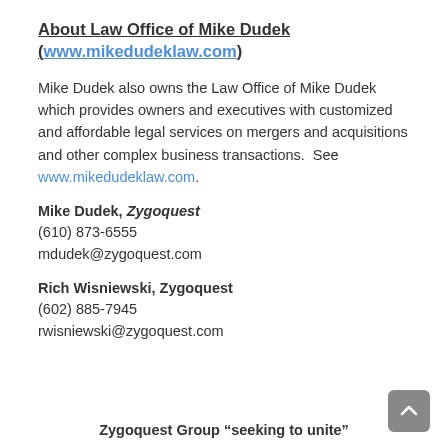About Law Office of Mike Dudek (www.mikedudeklaw.com)
Mike Dudek also owns the Law Office of Mike Dudek which provides owners and executives with customized and affordable legal services on mergers and acquisitions and other complex business transactions.  See www.mikedudeklaw.com.
Mike Dudek, Zygoquest
(610) 873-6555
mdudek@zygoquest.com
Rich Wisniewski, Zygoquest
(602) 885-7945
rwisniewski@zygoquest.com
Zygoquest Group “seeking to unite”